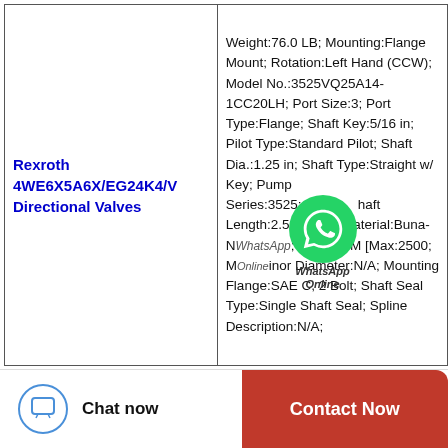| Product | Specifications |
| --- | --- |
| Rexroth 4WE6X5A6X/EG24K4/V Directional Valves | Weight:76.0 LB; Mounting:Flange Mount; Rotation:Left Hand (CCW); Model No.:3525VQ25A14-1CC20LH; Port Size:3; Port Type:Flange; Shaft Key:5/16 in; Pilot Type:Standard Pilot; Shaft Dia.:1.25 in; Shaft Type:Straight w/ Key; Pump Series:3525; Shaft Length:2.5 in; Seal Material:Buna-N; Max. RPM [Max:2500; Minor Diameter:N/A; Mounting Flange:SAE C, 2 Bolt; Shaft Seal Type:Single Shaft Seal; Spline Description:N/A; |
Chat now
Contact Now